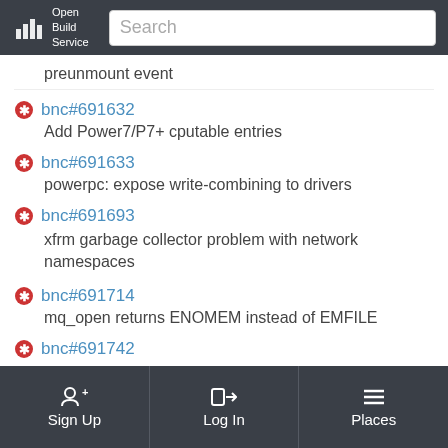Open Build Service | Search
preunmount event
bnc#691632 — Add Power7/P7+ cputable entries
bnc#691633 — powerpc: expose write-combining to drivers
bnc#691693 — xfrm garbage collector problem with network namespaces
bnc#691714 — mq_open returns ENOMEM instead of EMFILE
bnc#691742
Sign Up | Log In | Places